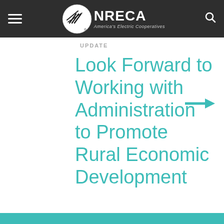NRECA — America's Electric Cooperatives
Look Forward to Working with Administration to Promote Rural Economic Development